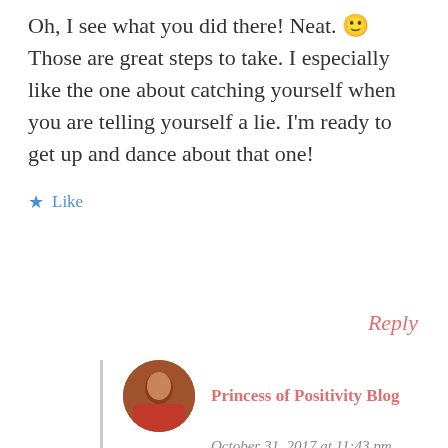Oh, I see what you did there! Neat. 🙂 Those are great steps to take. I especially like the one about catching yourself when you are telling yourself a lie. I'm ready to get up and dance about that one!
★ Like
Reply
Princess of Positivity Blog
October 31, 2017 at 11:43 pm
It's very important right?